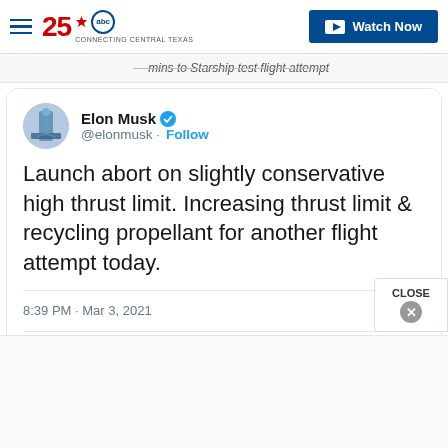25 abc Connecting Central Texas | Watch Now
— mins to Starship test flight attempt
[Figure (screenshot): Elon Musk Twitter/X profile avatar showing a rocket on launch pad with blue sky background]
Elon Musk @elonmusk · Follow
Launch abort on slightly conservative high thrust limit. Increasing thrust limit & recycling propellant for another flight attempt today.
8:39 PM · Mar 3, 2021
♡ 90.4K   Reply   Copy link
Read 2.5K replies
CLOSE